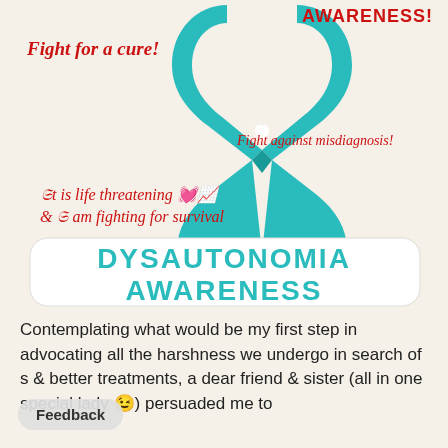[Figure (illustration): Dysautonomia Awareness infographic featuring a large teal awareness ribbon in the center, with red stylized text reading 'Fight for a cure!' on the left, 'AWARENESS!' in red on the top right, 'Fight against misdiagnosis!' in red italic script on the right, red cursive text 'It is life threatening & I am fighting for survival' with heart/EKG emoji icons, and large bold teal text reading 'DYSAUTONOMIA AWARENESS' at the bottom of the image on a white sticker-style badge.]
Contemplating what would be my first step in advocating all the harshness we undergo in search of s & better treatments, a dear friend & sister (all in one special lady 😉) persuaded me to